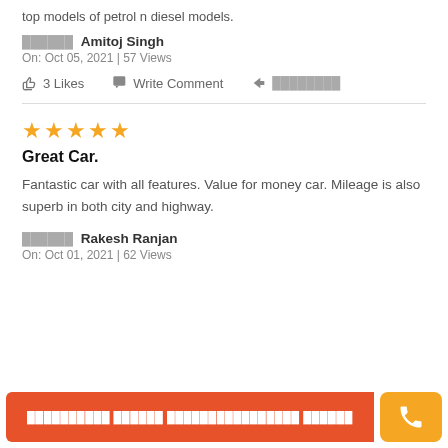top models of petrol n diesel models.
██████ Amitoj Singh
On: Oct 05, 2021 | 57 Views
3 Likes   Write Comment   ██████
★★★★★
Great Car.
Fantastic car with all features. Value for money car. Mileage is also superb in both city and highway.
██████ Rakesh Ranjan
On: Oct 01, 2021 | 62 Views
██████████ ██████████████████ ██████